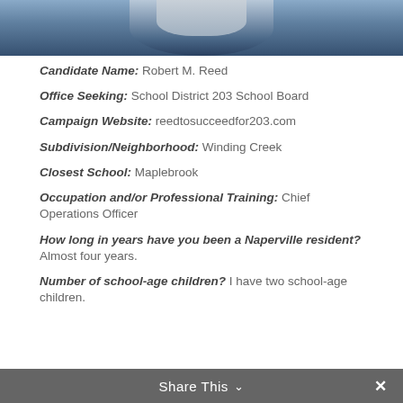[Figure (photo): Partial photo of candidate, showing neck/collar area of a dark blue suit jacket, cropped at top of page]
Candidate Name: Robert M. Reed
Office Seeking: School District 203 School Board
Campaign Website: reedtosucceedfor203.com
Subdivision/Neighborhood: Winding Creek
Closest School: Maplebrook
Occupation and/or Professional Training: Chief Operations Officer
How long in years have you been a Naperville resident? Almost four years.
Number of school-age children? I have two school-age children.
Share This ✓ ×